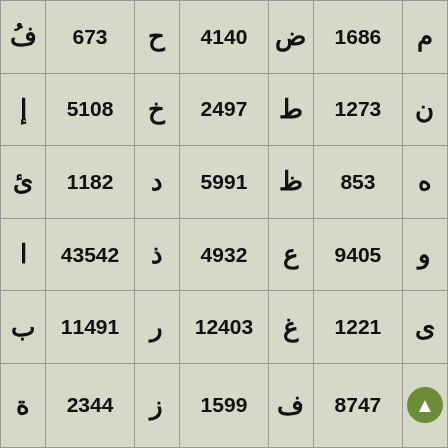| فُ | 673 | ح | 4140 | ض | 1686 | م |
| إ | 5108 | خ | 2497 | ط | 1273 | ن |
| ئ | 1182 | د | 5991 | ظ | 853 | ه |
| ا | 43542 | ذ | 4932 | ع | 9405 | و |
| ب | 11491 | ر | 12403 | غ | 1221 | ى |
| ة | 2344 | ز | 1599 | ف | 8747 | (logo) |